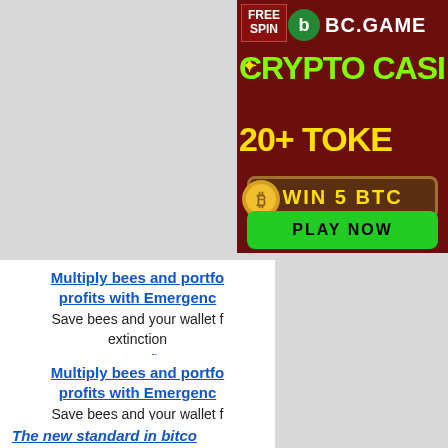[Figure (illustration): BC.GAME crypto casino advertisement banner. Dark red background with green text 'CRYPTO CASI[NO]', yellow text '20+ TOKE[NS]', brown badge 'WIN 5 BTC', green 'PLAY NOW' button, and 'FREE SPIN' label in top left corner.]
Multiply bees and portfo[lio] profits with Emergenc[e]. Save bees and your wallet f[rom] extinction. emergence.finance
Multiply bees and portfo[lio] profits with Emergenc[e]. Save bees and your wallet f[rom] extinction. emergence.finance
The new standard in bitco[in]...